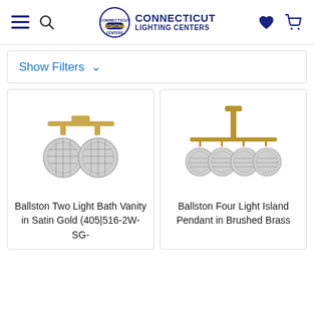Connecticut Lighting Centers - navigation header with hamburger menu, search, logo, heart and cart icons
Show Filters ∨
[Figure (photo): Ballston Two Light Bath Vanity in Satin Gold with two globe shades with mesh wire interior on a gold bar fixture]
Ballston Two Light Bath Vanity in Satin Gold (405|516-2W-SG-
[Figure (photo): Ballston Four Light Island Pendant in Brushed Brass with four globe shades with mesh wire interior hanging from a brass bar]
Ballston Four Light Island Pendant in Brushed Brass